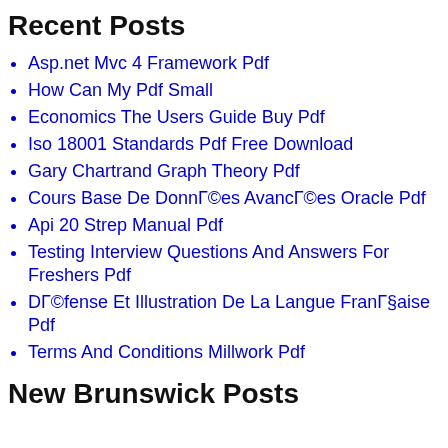Recent Posts
Asp.net Mvc 4 Framework Pdf
How Can My Pdf Small
Economics The Users Guide Buy Pdf
Iso 18001 Standards Pdf Free Download
Gary Chartrand Graph Theory Pdf
Cours Base De DonnÃ©es AvancÃ©es Oracle Pdf
Api 20 Strep Manual Pdf
Testing Interview Questions And Answers For Freshers Pdf
DÃ©fense Et Illustration De La Langue FranÃ§aise Pdf
Terms And Conditions Millwork Pdf
New Brunswick Posts